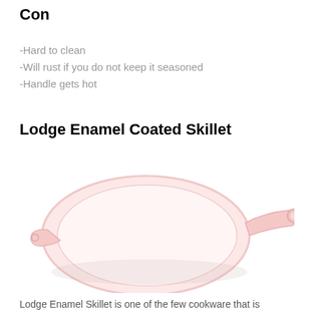Con
-Hard to clean
-Will rust if you do not keep it seasoned
-Handle gets hot
Lodge Enamel Coated Skillet
[Figure (photo): A light pink/cream enamel coated cast iron skillet (Lodge brand) viewed from slightly above. The pan has a round body, a long handle on the right side, and a small helper handle on the left side.]
Lodge Enamel Skillet is one of the few cookware that is